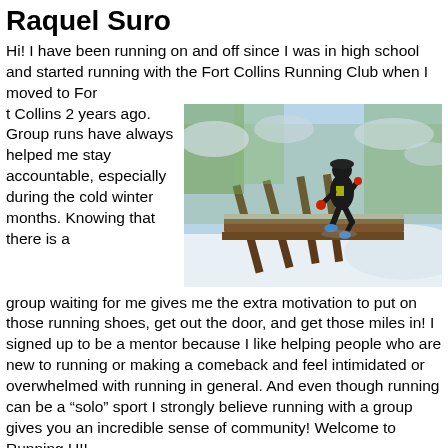Raquel Suro
Hi! I have been running on and off since I was in high school and started running with the Fort Collins Running Club when I moved to Fort Collins 2 years ago. Group runs have always helped me stay accountable, especially during the cold winter months. Knowing that there is a group waiting for me gives me the extra motivation to put on those running shoes, get out the door, and get those miles in! I signed up to be a mentor because I like helping people who are new to running or making a comeback and feel intimidated or overwhelmed with running in general. And even though running can be a “solo” sport I strongly believe running with a group gives you an incredible sense of community! Welcome to Running U!!
[Figure (photo): A runner dressed in black winter running gear with red gloves and a hat, running on a snow-covered wooden bridge in a winter landscape with snow-covered trees in the background.]